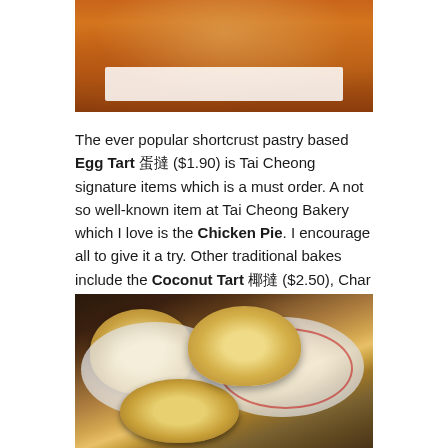[Figure (photo): Top portion of a food photo showing orange/curry colored dish on a white plate, partially cropped at top of page]
The ever popular shortcrust pastry based Egg Tart 蛋撻 ($1.90) is Tai Cheong signature items which is a must order. A not so well-known item at Tai Cheong Bakery which I love is the Chicken Pie. I encourage all to give it a try. Other traditional bakes include the Coconut Tart 椰撻 ($2.50), Char Siu Bolo Bun 叉燒菠蘿包 ($2.20)
[Figure (photo): Photo of multiple egg tarts in foil cups on white plates with red ring detail, hands visible reaching for them, on a wooden table surface]